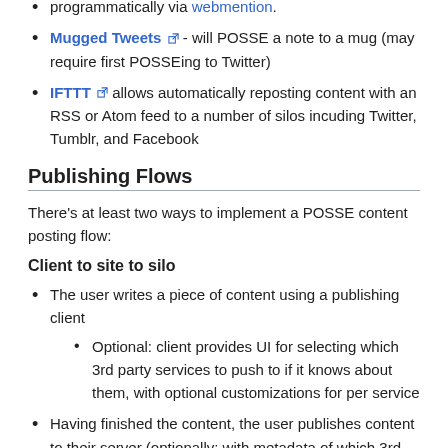programmatically via webmention.
Mugged Tweets [ext] - will POSSE a note to a mug (may require first POSSEing to Twitter)
IFTTT [ext] allows automatically reposting content with an RSS or Atom feed to a number of silos incuding Twitter, Tumblr, and Facebook
Publishing Flows
There's at least two ways to implement a POSSE content posting flow:
Client to site to silo
The user writes a piece of content using a publishing client
Optional: client provides UI for selecting which 3rd party services to push to if it knows about them, with optional customizations for per service
Having finished the content, the user publishes content to their server (optionally: with metadata of which 3rd party services and any customizations thereof)
Optional: client posts content to silo(s) directly using the...